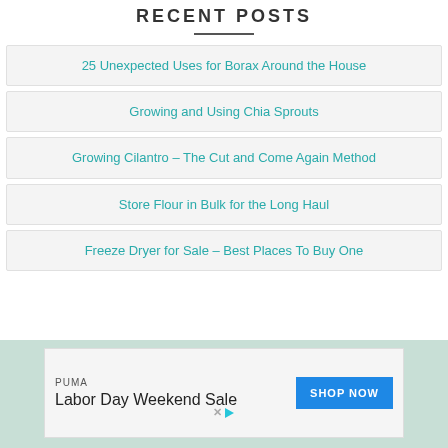RECENT POSTS
25 Unexpected Uses for Borax Around the House
Growing and Using Chia Sprouts
Growing Cilantro – The Cut and Come Again Method
Store Flour in Bulk for the Long Haul
Freeze Dryer for Sale – Best Places To Buy One
[Figure (infographic): Advertisement banner: PUMA brand, Labor Day Weekend Sale text, SHOP NOW button in blue. Ad choice icons (X and triangle) in bottom-left corner.]